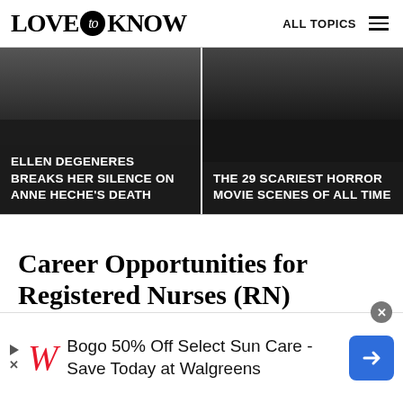LOVE to KNOW   ALL TOPICS
[Figure (photo): Two-panel image bar. Left panel: dark photo with overlaid white uppercase text 'ELLEN DEGENERES BREAKS HER SILENCE ON ANNE HECHE'S DEATH'. Right panel: dark photo with overlaid white uppercase text 'THE 29 SCARIEST HORROR MOVIE SCENES OF ALL TIME'.]
Career Opportunities for Registered Nurses (RN)
In general, RNs are responsible for treating and
[Figure (infographic): Advertisement banner: Walgreens ad. Bogo 50% Off Select Sun Care - Save Today at Walgreens. Features Walgreens 'W' logo in red italic, and a blue navigation arrow icon on the right. Close button (x) in top right corner.]